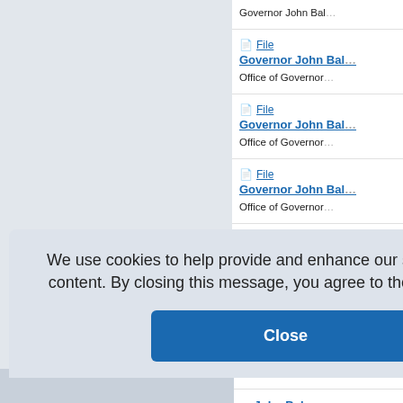Governor John Bal...
File — Governor John Bal... / Office of Governor
File — Governor John Bal... / Office of Governor
File — Governor John Bal... / Office of Governor
File — Governor John Bal... / John Baldacci and J...
or John Bal... / ernor John B
or John Bal... / or John Bal
or John Bal... / or John Bal
We use cookies to help provide and enhance our service and tailor content. By closing this message, you agree to the use of cookies.